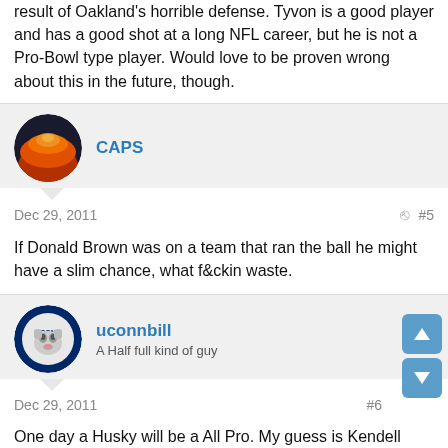result of Oakland's horrible defense. Tyvon is a good player and has a good shot at a long NFL career, but he is not a Pro-Bowl type player. Would love to be proven wrong about this in the future, though.
[Figure (photo): Circular avatar with orange/red sunset image for user CAPS]
CAPS
Dec 29, 2011  #5
If Donald Brown was on a team that ran the ball he might have a slim chance, what f&ckin waste.
[Figure (photo): Circular avatar with UConn Husky logo for user uconnbill]
uconnbill
A Half full kind of guy
Dec 29, 2011  #6
One day a Husky will be a All Pro. My guess is Kendell Reyes or Sherman.